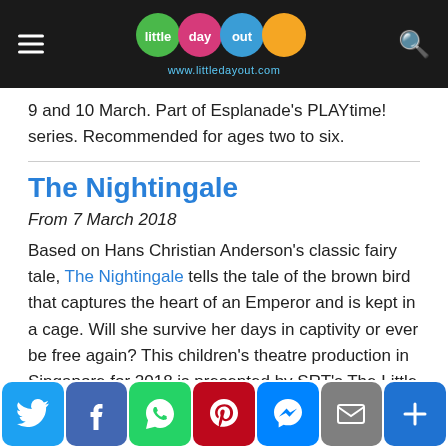little day out — www.littledayout.com
9 and 10 March. Part of Esplanade's PLAYtime! series. Recommended for ages two to six.
The Nightingale
From 7 March 2018
Based on Hans Christian Anderson's classic fairy tale, The Nightingale tells the tale of the brown bird that captures the heart of an Emperor and is kept in a cage. Will she survive her days in captivity or ever be free again? This children's theatre production in Singapore for 2018 is presented by SRT's The Little Company.